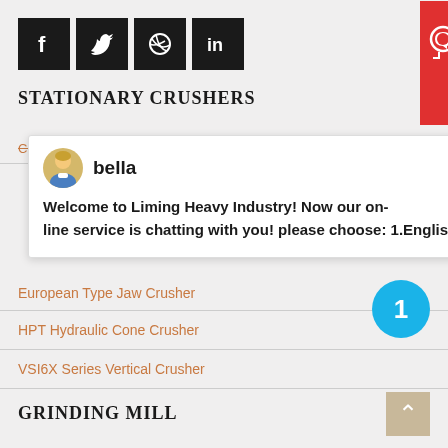[Figure (other): Social media icons: Facebook, Twitter, Dribbble, LinkedIn — black square buttons]
STATIONARY CRUSHERS
C6X Series Jaw Crusher (strikethrough)
[Figure (screenshot): Chat popup from 'bella' (Liming Heavy Industry online service): 'Welcome to Liming Heavy Industry! Now our on-line service is chatting with you! please choose: 1.English']
European Type Jaw Crusher
HPT Hydraulic Cone Crusher
VSI6X Series Vertical Crusher
GRINDING MILL